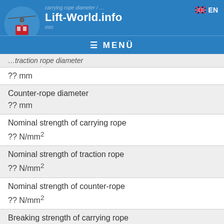Lift-World.info
?? mm
Counter-rope diameter
?? mm
Nominal strength of carrying rope
?? N/mm²
Nominal strength of traction rope
?? N/mm²
Nominal strength of counter-rope
?? N/mm²
Breaking strength of carrying rope
?? kN
Breaking strength of traction rope